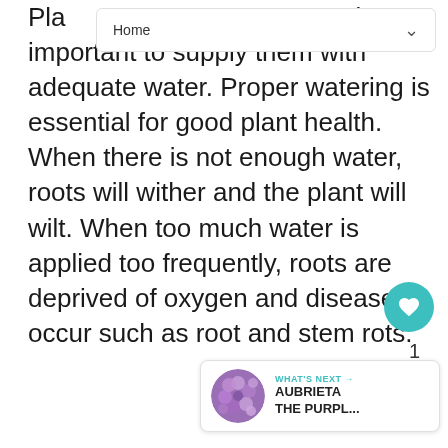Home
Plants need it important to supply them with adequate water. Proper watering is essential for good plant health. When there is not enough water, roots will wither and the plant will wilt. When too much water is applied too frequently, roots are deprived of oxygen and diseases occur such as root and stem rots.
[Figure (other): WHAT'S NEXT card with thumbnail image of purple aubrieta flowers. Text reads: WHAT'S NEXT → AUBRIETA THE PURPL...]